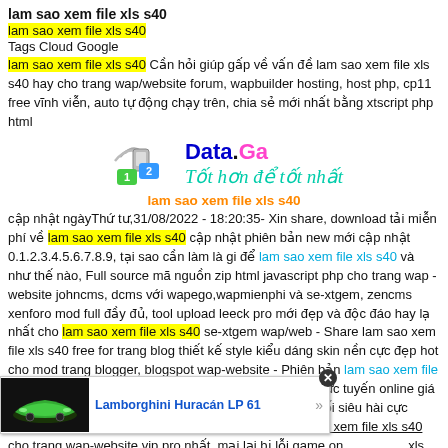lam sao xem file xls s40
lam sao xem file xls s40 (highlighted)
Tags Cloud Google
lam sao xem file xls s40 Cần hỏi giúp gấp về vấn đề lam sao xem file xls s40 hay cho trang wap/website forum, wapbuilder hosting, host php, cp11 free vĩnh viễn, auto tự động chạy trên, chia sẻ mới nhất bằng xtscript php html
[Figure (logo): Data.Ga logo with wireless icon and numbered boxes, tagline Tốt hơn để tốt nhất]
lam sao xem file xls s40 (center orange bold)
cập nhật ngàyThứ tư,31/08/2022 - 18:20:35- Xin share, download tải miễn phí về lam sao xem file xls s40 cập nhật phiên bản new mới cập nhật 0.1.2.3.4.5.6.7.8.9, tại sao cần làm là gi để lam sao xem file xls s40 và như thế nào, Full source mã nguồn zip html javascript php cho trang wap - website johncms, dcms với wapego,wapmienphi và se-xtgem, zencms xenforo mod full đầy đủ, tool upload leeck pro mới đẹp và độc đáo hay lạ nhất cho lam sao xem file xls s40 se-xtgem wap/web - Share lam sao xem file xls s40 free for trang blog thiết kế style kiểu dáng skin nền cực đẹp hot cho mod trang blogger, blogspot wap-website - Phiên bản lam sao xem file xls s40 crack full + data cho free - Sell đại lí mua bán trực tuyến online giá rẻ nhất Việt Nam lam sao xem file xls s40 số 1 vn vô đối siêu hài cực nóng hay cực chất lượng. Hướng dẫn cách làm lam sao xem file xls s40 cho trang wap-website vip pro nhất, mại lại bị lỗi game on...xls s40 share tố...ninh nhỉ? Hack ga...hệ điều hành java mobile pc android smart phone IOS, sản phẩm by search engine
[Figure (photo): Advertisement banner: Lamborghini Huracán LP 61 with green car image on dark background]